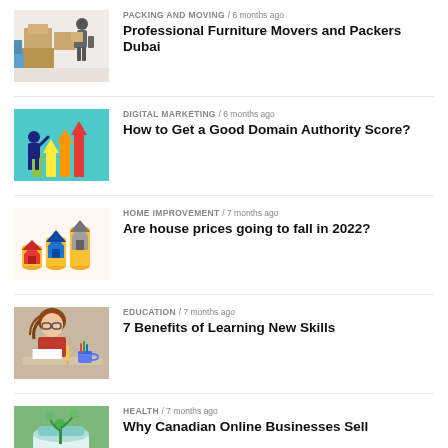PACKING AND MOVING / 6 months ago — Professional Furniture Movers and Packers Dubai
DIGITAL MARKETING / 6 months ago — How to Get a Good Domain Authority Score?
HOME IMPROVEMENT / 7 months ago — Are house prices going to fall in 2022?
EDUCATION / 7 months ago — 7 Benefits of Learning New Skills
HEALTH / 7 months ago — Why Canadian Online Businesses Sell